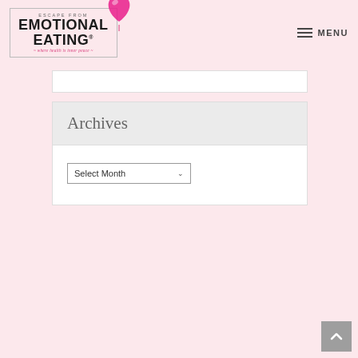[Figure (logo): Escape From Emotional Eating logo with pink heart balloon and tagline 'where health is inner peace']
Archives
Select Month